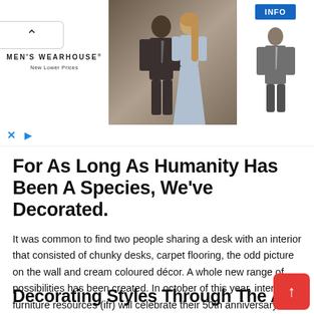[Figure (screenshot): Men's Wearhouse advertisement banner showing a couple in formal wedding attire and a man in a suit, with INFO button and Men's Wearhouse logo with 'New Lower Prices' tagline]
For As Long As Humanity Has Been A Species, We've Decorated.
It was common to find two people sharing a desk with an interior that consisted of chunky desks, carpet flooring, the odd picture on the wall and cream coloured décor. A whole new range of possibilities has been created. In october of this year, interior furniture resources (ifr) will celebrate their 50th anniversary.
Decorating Styles Through The A